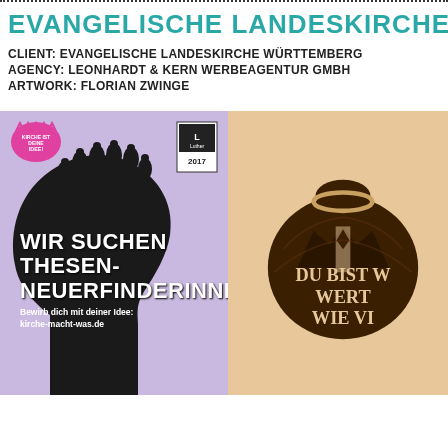EVANGELISCHE LANDESKIRCHE – CA
CLIENT: EVANGELISCHE LANDESKIRCHE WÜRTTEMBERG
AGENCY: LEONHARDT & KERN WERBEAGENTUR GMBH
ARTWORK: FLORIAN ZWINGE
[Figure (illustration): Left poster with purple background showing a black silhouette of a profile head with small figures on top, pink badge top-left, Luther 2017 logo top-right, and white bold text 'WIR SUCHEN THESEN-NEUERFINDERINNEN. Bewirb dich mit deiner Idee: kirche-macht-was.de']
[Figure (illustration): Right poster with peach/orange background showing a dark illustrated money bag wearing a suit and tie, with bold text 'DU BIST W... WERT... WIE VI...' (partially cropped)]